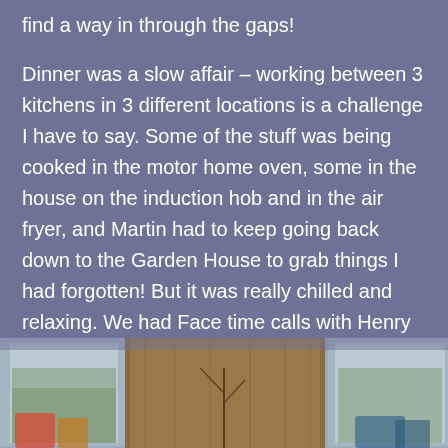find a way in through the gaps!
Dinner was a slow affair – working between 3 kitchens in 3 different locations is a challenge I have to say. Some of the stuff was being cooked in the motor home oven, some in the house on the induction hob and in the air fryer, and Martin had to keep going back down to the Garden House to grab things I had forgotten! But it was really chilled and relaxing. We had Face time calls with Henry and Chloe (our nephew and niece) and with Adam, Owen and our Grandson Max.
[Figure (photo): A photograph partially visible at the bottom of the page, showing what appears to be an indoor setting with windows on the left and right sides and a wooden wall or panel in the center.]